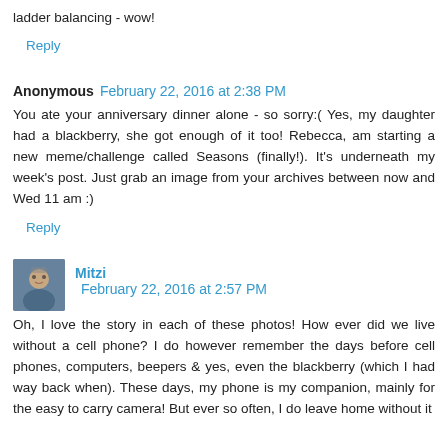ladder balancing - wow!
Reply
Anonymous  February 22, 2016 at 2:38 PM
You ate your anniversary dinner alone - so sorry:( Yes, my daughter had a blackberry, she got enough of it too! Rebecca, am starting a new meme/challenge called Seasons (finally!). It's underneath my week's post. Just grab an image from your archives between now and Wed 11 am :)
Reply
Mitzi  February 22, 2016 at 2:57 PM
Oh, I love the story in each of these photos! How ever did we live without a cell phone? I do however remember the days before cell phones, computers, beepers & yes, even the blackberry (which I had way back when). These days, my phone is my companion, mainly for the easy to carry camera! But ever so often, I do leave home without it